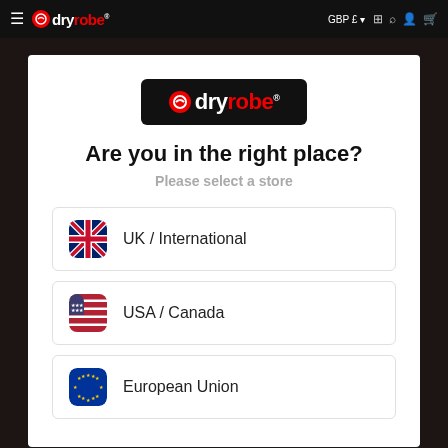dryrobe — GBP £
[Figure (screenshot): dryrobe logo on black background inside modal]
Are you in the right place?
Please select a store
UK / International
USA / Canada
European Union